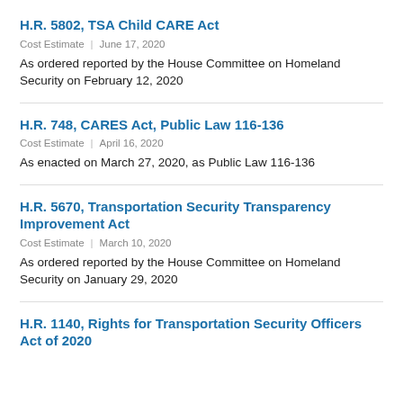H.R. 5802, TSA Child CARE Act
Cost Estimate | June 17, 2020
As ordered reported by the House Committee on Homeland Security on February 12, 2020
H.R. 748, CARES Act, Public Law 116-136
Cost Estimate | April 16, 2020
As enacted on March 27, 2020, as Public Law 116-136
H.R. 5670, Transportation Security Transparency Improvement Act
Cost Estimate | March 10, 2020
As ordered reported by the House Committee on Homeland Security on January 29, 2020
H.R. 1140, Rights for Transportation Security Officers Act of 2020